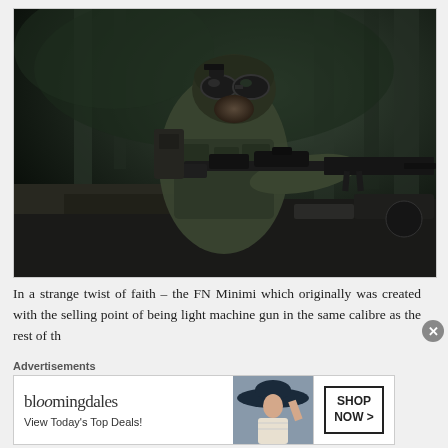[Figure (photo): A soldier in full combat gear including helmet, night-vision goggles, and tactical vest, aiming a machine gun (FN Minimi) while positioned in or on a military vehicle. Dark forest background. Black and green tones throughout.]
In a strange twist of faith – the FN Minimi which originally was created with the selling point of being light machine gun in the same calibre as the rest of th...
Advertisements
[Figure (illustration): Bloomingdale's advertisement banner. Shows the Bloomingdale's logo with decorative font, tagline 'View Today's Top Deals!', an image of a woman in a large hat, and a 'SHOP NOW >' call-to-action button.]